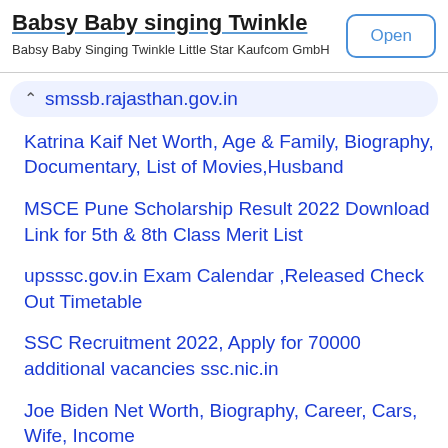Babsy Baby singing Twinkle
Babsy Baby Singing Twinkle Little Star Kaufcom GmbH
smssb.rajasthan.gov.in
Katrina Kaif Net Worth, Age & Family, Biography, Documentary, List of Movies,Husband
MSCE Pune Scholarship Result 2022 Download Link for 5th & 8th Class Merit List
upsssc.gov.in Exam Calendar ,Released Check Out Timetable
SSC Recruitment 2022, Apply for 70000 additional vacancies ssc.nic.in
Joe Biden Net Worth, Biography, Career, Cars, Wife, Income